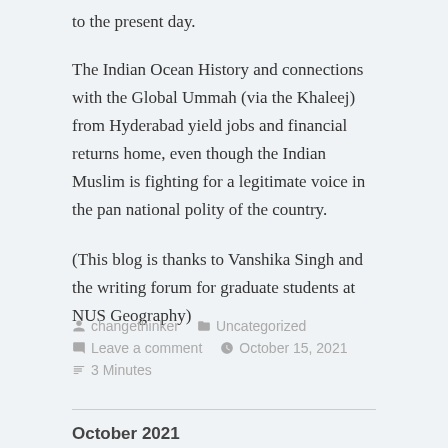to the present day.
The Indian Ocean History and connections with the Global Ummah (via the Khaleej) from Hyderabad yield jobs and financial returns home, even though the Indian Muslim is fighting for a legitimate voice in the pan national polity of the country.
(This blog is thanks to Vanshika Singh and the writing forum for graduate students at NUS Geography)
changethinker   Uncategorized
Leave a comment   October 15, 2021
3 Minutes
October 2021